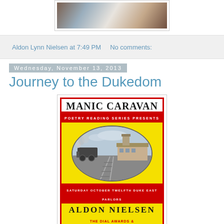[Figure (photo): Top portion of a photo showing an indoor scene with warm/cool color tones]
Aldon Lynn Nielsen at 7:49 PM    No comments:
Wednesday, November 13, 2013
Journey to the Dukedom
[Figure (photo): Manic Caravan Poetry Reading Series poster featuring a vintage train station photo in an oval, with text: MANIC CARAVAN, POETRY READING SERIES PRESENTS, SATURDAY OCTOBER TWELFTH DUKE EAST PARLORS, ALDON NIELSEN]